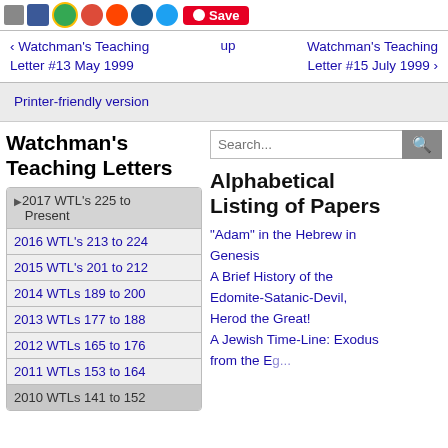Social share icons and Save button
‹ Watchman's Teaching Letter #13 May 1999   up   Watchman's Teaching Letter #15 July 1999 ›
Printer-friendly version
Watchman's Teaching Letters
2017 WTL's 225 to Present
2016 WTL's 213 to 224
2015 WTL's 201 to 212
2014 WTLs 189 to 200
2013 WTLs 177 to 188
2012 WTLs 165 to 176
2011 WTLs 153 to 164
Alphabetical Listing of Papers
"Adam" in the Hebrew in Genesis
A Brief History of the Edomite-Satanic-Devil, Herod the Great!
A Jewish Time-Line: Exodus from the Egyptian Bondage